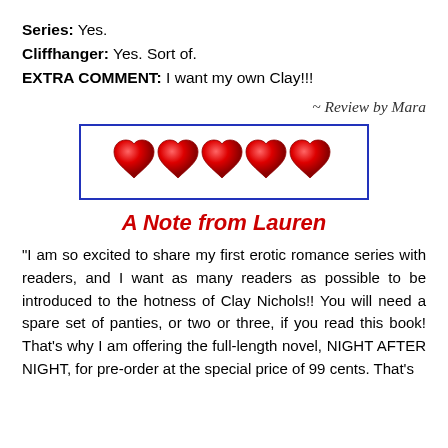Series: Yes.
Cliffhanger: Yes. Sort of.
EXTRA COMMENT: I want my own Clay!!!
~ Review by Mara
[Figure (illustration): Five red heart icons arranged horizontally inside a blue-bordered rectangle, representing a 5-heart rating.]
A Note from Lauren
"I am so excited to share my first erotic romance series with readers, and I want as many readers as possible to be introduced to the hotness of Clay Nichols!! You will need a spare set of panties, or two or three, if you read this book! That's why I am offering the full-length novel, NIGHT AFTER NIGHT, for pre-order at the special price of 99 cents. That's